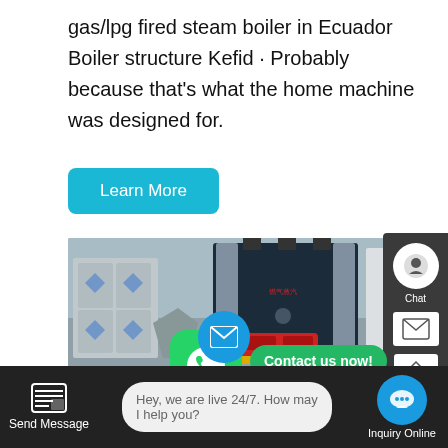gas/lpg fired steam boiler in Ecuador Boiler structure Kefid · Probably because that's what the home machine was designed for.
Learn More
[Figure (photo): A large dark navy/dark blue vertical steam boiler unit with silver accents, standing in an industrial warehouse. Red burner visible at the base. Yellow gas pipe at the bottom. Stacked metal/silver containers visible to the left.]
Contact us now!
Biomass Horizontal Oil Heating
Hey, we are live 24/7. How may I help you?
Send Message
Inquiry Online